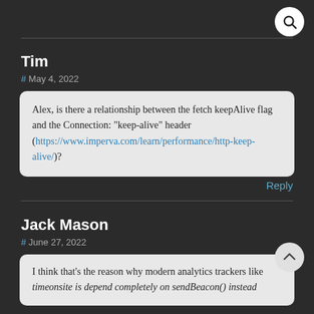Tim
# May 4, 2022
Alex, is there a relationship between the fetch keepAlive flag and the Connection: "keep-alive" header (https://www.imperva.com/learn/performance/http-keep-alive/)?
Reply
Jack Mason
# June 27, 2022
I think that's the reason why modern analytics trackers like timeonsite is depend completely on sendBeacon() instead